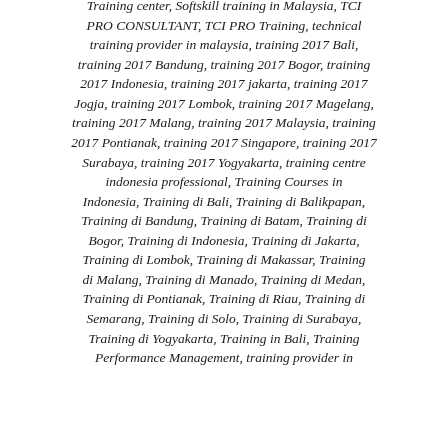Training center, Softskill training in Malaysia, TCI PRO CONSULTANT, TCI PRO Training, technical training provider in malaysia, training 2017 Bali, training 2017 Bandung, training 2017 Bogor, training 2017 Indonesia, training 2017 jakarta, training 2017 Jogja, training 2017 Lombok, training 2017 Magelang, training 2017 Malang, training 2017 Malaysia, training 2017 Pontianak, training 2017 Singapore, training 2017 Surabaya, training 2017 Yogyakarta, training centre indonesia professional, Training Courses in Indonesia, Training di Bali, Training di Balikpapan, Training di Bandung, Training di Batam, Training di Bogor, Training di Indonesia, Training di Jakarta, Training di Lombok, Training di Makassar, Training di Malang, Training di Manado, Training di Medan, Training di Pontianak, Training di Riau, Training di Semarang, Training di Solo, Training di Surabaya, Training di Yogyakarta, Training in Bali, Training Performance Management, training provider in